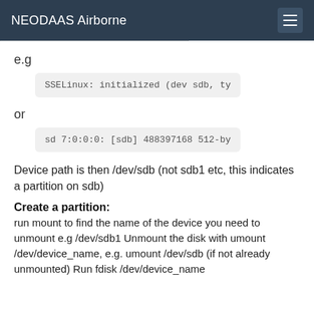NEODAAS Airborne
e.g
SSELinux: initialized (dev sdb, ty
or
sd 7:0:0:0: [sdb] 488397168 512-by
Device path is then /dev/sdb (not sdb1 etc, this indicates a partition on sdb)
Create a partition:
run mount to find the name of the device you need to unmount e.g /dev/sdb1 Unmount the disk with umount /dev/device_name, e.g. umount /dev/sdb (if not already unmounted) Run fdisk /dev/device_name